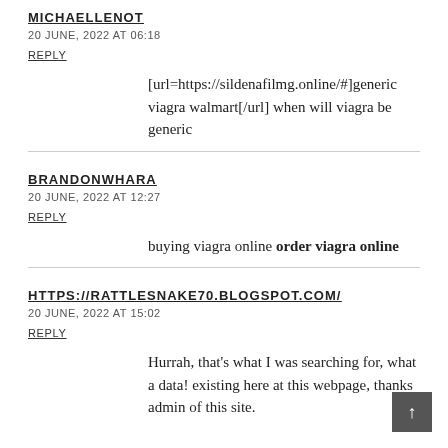MICHAELLENOT
20 JUNE, 2022 AT 06:18
REPLY
[url=https://sildenafilmg.online/#]generic viagra walmart[/url] when will viagra be generic
BRANDONWHARA
20 JUNE, 2022 AT 12:27
REPLY
buying viagra online order viagra online
HTTPS://RATTLESNAKE70.BLOGSPOT.COM/
20 JUNE, 2022 AT 15:02
REPLY
Hurrah, that's what I was searching for, what a data! existing here at this webpage, thanks admin of this site.